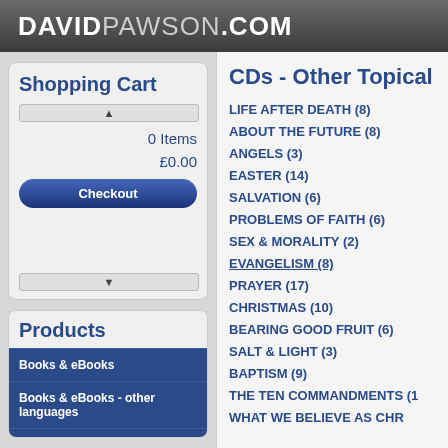DAVIDPAWSON.COM
Shopping Cart
0 Items
£0.00
Checkout
Products
Books & eBooks
Books & eBooks - other languages
CDs - Other Topical Teachings
CDs - Cults, Sects & Other Beliefs
CDs - Other Topical
LIFE AFTER DEATH (8)
ABOUT THE FUTURE (8)
ANGELS (3)
EASTER (14)
SALVATION (6)
PROBLEMS OF FAITH (6)
SEX & MORALITY (2)
EVANGELISM (8)
PRAYER (17)
CHRISTMAS (10)
BEARING GOOD FRUIT (6)
SALT & LIGHT (3)
BAPTISM (9)
THE TEN COMMANDMENTS (1...)
WHAT WE BELIEVE AS CHR...